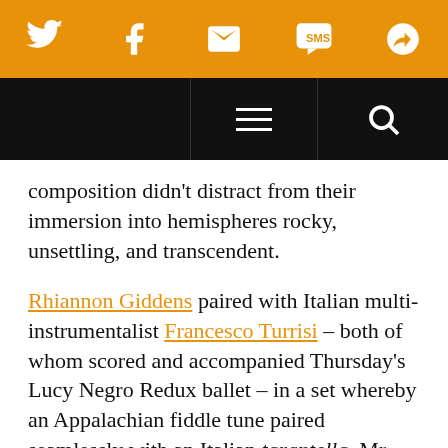Navigation bar with social icons (Twitter, Facebook, Email, SMS, Share) on orange background, and menu/search bar on black background
composition didn't distract from their immersion into hemispheres rocky, unsettling, and transcendent.
Rhiannon Giddens paired with Italian multi-instrumentalist Francesco Turrisi – both of whom scored and accompanied Thursday's Lucy Negro Redux ballet – in a set whereby an Appalachian fiddle tune paired seamlessly with an Italian tarantella. Mr. Turrisi detailed the history of th… "curative trance dances" whereby one infected by…